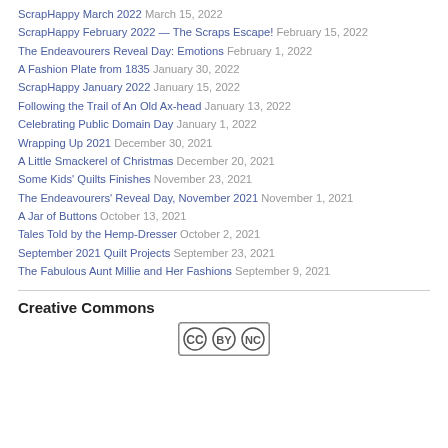ScrapHappy March 2022 March 15, 2022
ScrapHappy February 2022 — The Scraps Escape! February 15, 2022
The Endeavourers Reveal Day: Emotions February 1, 2022
A Fashion Plate from 1835 January 30, 2022
ScrapHappy January 2022 January 15, 2022
Following the Trail of An Old Ax-head January 13, 2022
Celebrating Public Domain Day January 1, 2022
Wrapping Up 2021 December 30, 2021
A Little Smackerel of Christmas December 20, 2021
Some Kids' Quilts Finishes November 23, 2021
The Endeavourers' Reveal Day, November 2021 November 1, 2021
A Jar of Buttons October 13, 2021
Tales Told by the Hemp-Dresser October 2, 2021
September 2021 Quilt Projects September 23, 2021
The Fabulous Aunt Millie and Her Fashions September 9, 2021
Creative Commons
[Figure (logo): Creative Commons license badge icon (CC BY-NC-SA)]